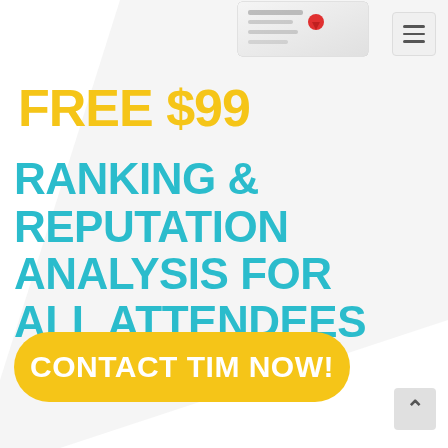[Figure (illustration): Partial view of a book or booklet at the top right of the page, with some text and a map pin icon visible]
FREE $99
RANKING & REPUTATION ANALYSIS FOR ALL ATTENDEES
CONTACT TIM NOW!